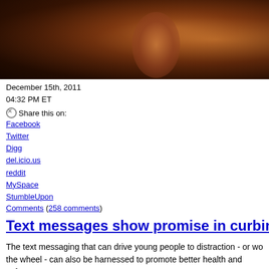[Figure (photo): Dark photograph of a person, warm orange/amber tones, partial view, dark background]
December 15th, 2011
04:32 PM ET
Share this on:
Facebook
Twitter
Digg
del.icio.us
reddit
MySpace
StumbleUpon
Comments (258 comments)
Text messages show promise in curbing dri
The text messaging that can drive young people to distraction - or wo the wheel - can also be harnessed to promote better health and safety
In the study, 15 heavy drinking young adults who sent and received y